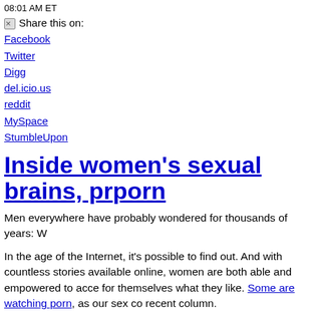08:01 AM ET
Share this on:
Facebook
Twitter
Digg
del.icio.us
reddit
MySpace
StumbleUpon
Inside women's sexual brains, pr... porn
Men everywhere have probably wondered for thousands of years: W...
In the age of the Internet, it's possible to find out. And with countless stories available online, women are both able and empowered to access for themselves what they like. Some are watching porn, as our sex co... recent column.
But what women are viewing and reading is usually not what men ar... book on the subject. In "A Billion Wicked Thoughts," released Thurs... Gaddam combine web searches, personal search histories, websites,